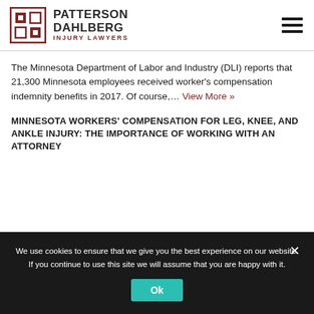Patterson Dahlberg Injury Lawyers
The Minnesota Department of Labor and Industry (DLI) reports that 21,300 Minnesota employees received worker's compensation indemnity benefits in 2017. Of course,… View More »
MINNESOTA WORKERS' COMPENSATION FOR LEG, KNEE, AND ANKLE INJURY: THE IMPORTANCE OF WORKING WITH AN ATTORNEY
We use cookies to ensure that we give you the best experience on our website. If you continue to use this site we will assume that you are happy with it.